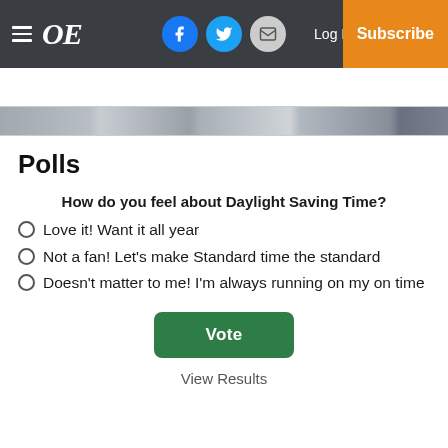≡ OE  [Facebook] [Twitter] [Mail]  Log In  Subscribe
[Figure (photo): Horizontal image strip/thumbnail banner below the header]
Polls
How do you feel about Daylight Saving Time?
Love it! Want it all year
Not a fan! Let's make Standard time the standard
Doesn't matter to me! I'm always running on my on time
Vote
View Results